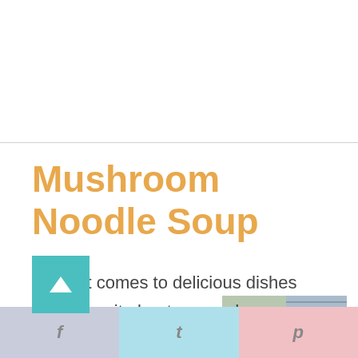Mushroom Noodle Soup
[Figure (photo): A white bowl of mushroom noodle soup with noodles and mushrooms visible, placed on a blue striped cloth, with a spoon in the bowl.]
When it comes to delicious dishes nothing quite beats a good soup. This Mushroom Noodle Soup has become our favorite one and will be yours as well!
f  t  p